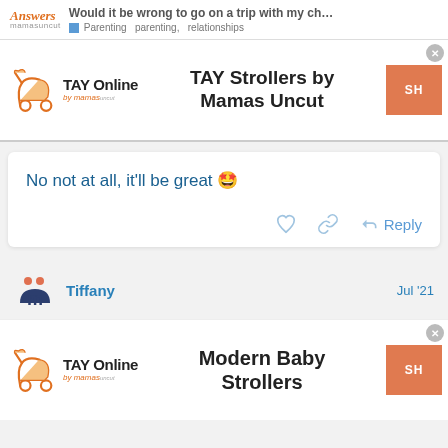Would it be wrong to go on a trip with my ch... — Parenting parenting, relationships
[Figure (screenshot): TAY Online by mamas ad banner showing TAY Strollers by Mamas Uncut with orange shop button]
No not at all, it'll be great 🤩
[Figure (screenshot): Comment action icons: heart, link, reply]
[Figure (logo): Mamas Uncut user avatar logo with Tiffany username and Jul '21 date]
[Figure (screenshot): TAY Online by mamas ad banner showing Modern Baby Strollers with orange shop button]